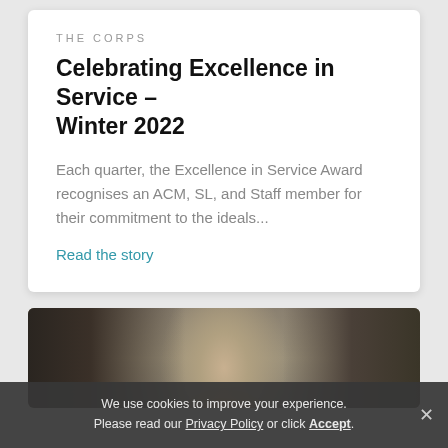THE CORPS
Celebrating Excellence in Service – Winter 2022
Each quarter, the Excellence in Service Award recognises an ACM, SL, and Staff member for their commitment to the ideals...
Read the story
[Figure (photo): Partial photo of a woman with dark hair, cropped to show the top half of her face]
We use cookies to improve your experience. Please read our Privacy Policy or click Accept.